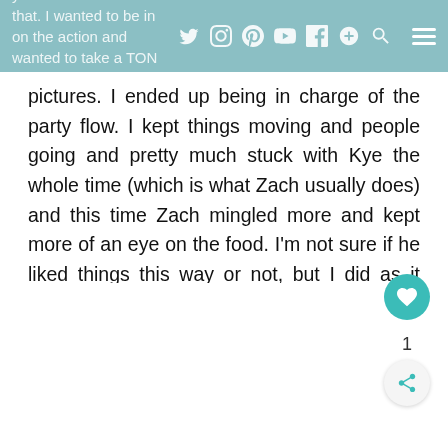year. I vowed not to do that. I wanted to be in on the action and wanted to take a TON of
pictures. I ended up being in charge of the party flow. I kept things moving and people going and pretty much stuck with Kye the whole time (which is what Zach usually does) and this time Zach mingled more and kept more of an eye on the food. I'm not sure if he liked things this way or not, but I did as it allowed me to get all the pictures I wanted!